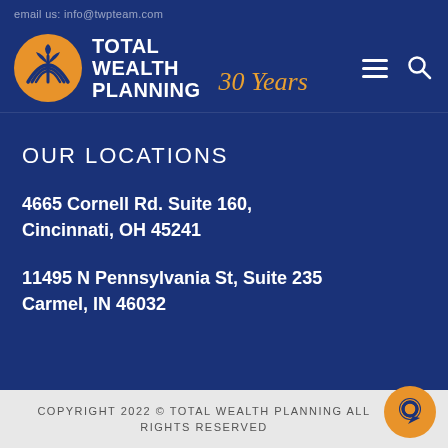email us: info@twpteam.com
[Figure (logo): Total Wealth Planning logo with orange circular icon and '30 Years' tagline in italic script]
OUR LOCATIONS
4665 Cornell Rd. Suite 160,
Cincinnati, OH 45241
11495 N Pennsylvania St, Suite 235
Carmel, IN 46032
COPYRIGHT 2022 © TOTAL WEALTH PLANNING ALL RIGHTS RESERVED